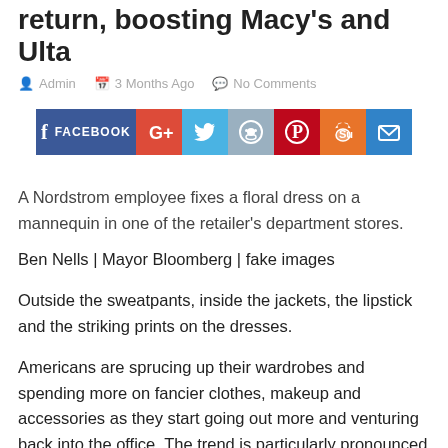return, boosting Macy's and Ulta
Admin   3 Months Ago   No Comments
[Figure (infographic): Social media share buttons: Facebook, Google+, Twitter, Reddit, Pinterest, StumbleUpon, Email]
A Nordstrom employee fixes a floral dress on a mannequin in one of the retailer's department stores.
Ben Nells | Mayor Bloomberg | fake images
Outside the sweatpants, inside the jackets, the lipstick and the striking prints on the dresses.
Americans are sprucing up their wardrobes and spending more on fancier clothes, makeup and accessories as they start going out more and venturing back into the office. The trend is particularly pronounced among higher-income